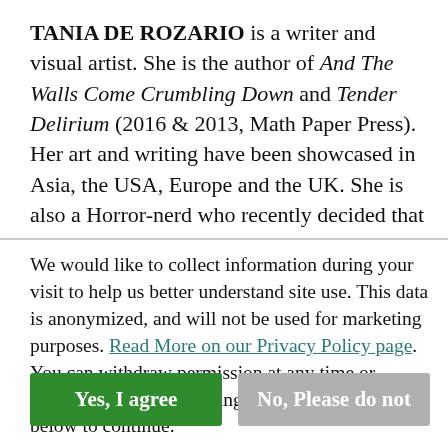TANIA DE ROZARIO is a writer and visual artist. She is the author of And The Walls Come Crumbling Down and Tender Delirium (2016 & 2013, Math Paper Press). Her art and writing have been showcased in Asia, the USA, Europe and the UK. She is also a Horror-nerd who recently decided that
We would like to collect information during your visit to help us better understand site use. This data is anonymized, and will not be used for marketing purposes. Read More on our Privacy Policy page. You can withdraw permission at any time or update your privacy settings here. Please choose below to continue.
Yes, I agree
No, Please do not